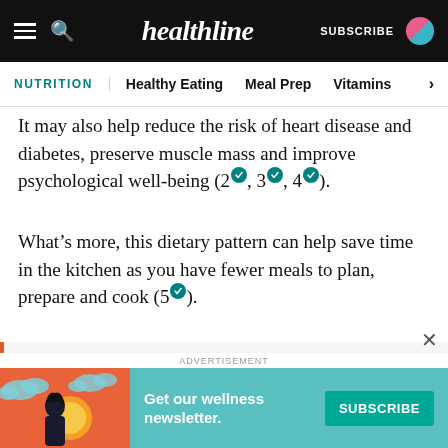healthline | SUBSCRIBE
NUTRITION | Healthy Eating | Meal Prep | Vitamins
It may also help reduce the risk of heart disease and diabetes, preserve muscle mass and improve psychological well-being (2, 3, 4).
What’s more, this dietary pattern can help save time in the kitchen as you have fewer meals to plan, prepare and cook (5).
SUMMARY
Intermittent fasting is an eating pattern that
ADVERTISEMENT
Get our wellness newsletter.
SUBSCRIBE